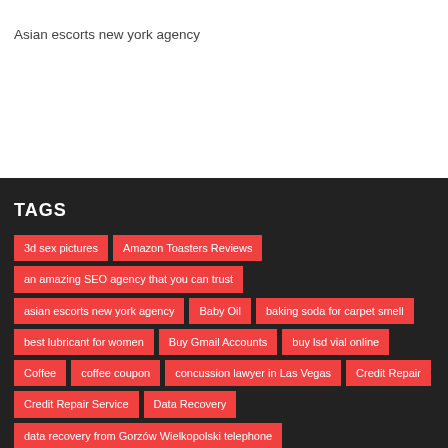Asian escorts new york agency
TAGS
3d sex pictures
Amazon Toasters Reviews
an amazing SEO agency that you can trust
asian escorts new york agency
Baby Oil
baking soda for carpet smell
best lubricant for women
Buy Gmail Accounts
buy lsd vial online
Coffee
coffee coupon
concussion lawyer in Las Vegas
Credit Repair
Credit Repair Service
Data Recovery
data recovery from Gorzów Wielkopolski telephone